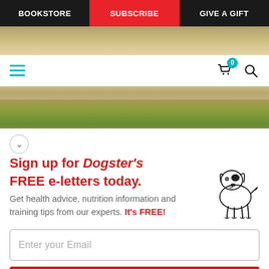BOOKSTORE | SUBSCRIBE | GIVE A GIFT
[Figure (screenshot): Partial image strip at top showing sandy/grassy background]
[Figure (screenshot): Toolbar with hamburger menu (cyan), cart icon with badge 0, and search icon]
[Figure (screenshot): Grass/outdoor image strip mid-page]
Sign up for Dogster's FREE e-letters today. Get health advice, nutrition information and training tips from our experts. It's FREE!
[Figure (illustration): Simple line drawing of a dog with a black spot over one eye]
Enter your Email
YES! SIGN ME UP